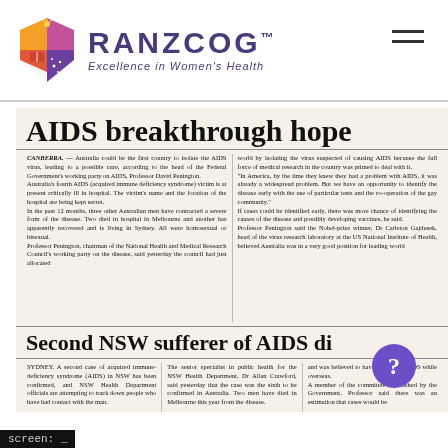[Figure (logo): RANZCOG logo with colourful shield and text 'RANZCOG Excellence in Women's Health']
AIDS breakthrough hope
CANBERRA. — Australia could be the first country to isolate the AIDS virus, leading to a possible cure, according to the head of the Federal Government's working party on AIDS, Professor David Penington. Australia's fourth AIDS (acquired immune deficiency syndrome) victim is at present critically ill in hospital. The victim's name and the location of the hospital are being kept secret. In the past 12 months, three other Australian men have contracted a severe form of the disease. Two died in hospital in Melbourne and another has apparently recovered and is living in Sydney. All were homosexual or bisexual. Professor Penington, chairman of the National Health and Medical Research Council's working party on the disease, said yesterday the council had just allocated
world by isolating the virus suspected of causing AIDS because the full force of medical research in the country was primed to deal with it. "In America, by the time they knew they had a problem with AIDS, it was already a widespread problem. But we have an opportunity to identify the disease early with the use of particular tests and the co-operation of the gay community." If cases could be identified early, there was more chance of identifying the causes of the disease and possibly developing vaccines, he said. Professor Penington said the Nobel-prize winner, Dr Carleton Gajdusek, head of the virus research laboratory at the US National Institute of Health, believed Australia was in a very good position for leading world
Second NSW sufferer of AIDS di
SYDNEY. A second case of acquired immune-deficiency syndrome (AIDS) in NSW has been confirmed, and NSW Health Department officials are attempting to track down people who have had contact with the man.
The senior specialist in public health for the NSW Health Department, Dr Allan Crawford, said yesterday that the case was the sixth to be confirmed in Australia. Two men have died in Melbourne this year from the disease.
and was believed to have contracted AIDS while overseas. A member of committee established by the Government, Professor said there was an estimation that cases would be
now on AIDS: professor